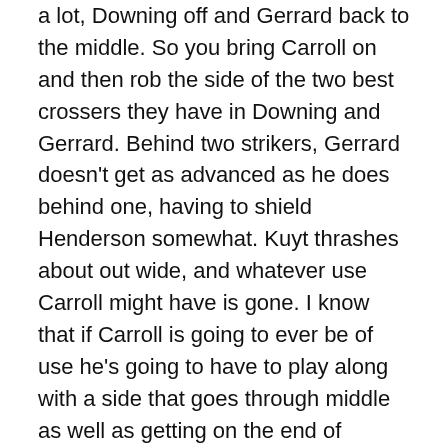a lot, Downing off and Gerrard back to the middle. So you bring Carroll on and then rob the side of the two best crossers they have in Downing and Gerrard. Behind two strikers, Gerrard doesn't get as advanced as he does behind one, having to shield Henderson somewhat. Kuyt thrashes about out wide, and whatever use Carroll might have is gone. I know that if Carroll is going to ever be of use he's going to have to play along with a side that goes through middle as well as getting on the end of crossed from wide, but with this limited time left and needing a goal why rob him of that? Thankfully, the introduction of Agger gave Liverpool another aerial threat from set pieces, which duly netted the tying goal.
But it's not enough, or it's not more. Maybe wishing for more is just too much these days.